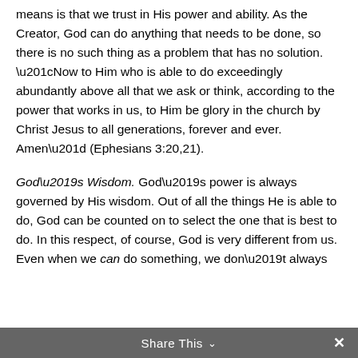means is that we trust in His power and ability. As the Creator, God can do anything that needs to be done, so there is no such thing as a problem that has no solution. “Now to Him who is able to do exceedingly abundantly above all that we ask or think, according to the power that works in us, to Him be glory in the church by Christ Jesus to all generations, forever and ever. Amen” (Ephesians 3:20,21).
God’s Wisdom. God’s power is always governed by His wisdom. Out of all the things He is able to do, God can be counted on to select the one that is best to do. In this respect, of course, God is very different from us. Even when we can do something, we don’t always
Share This